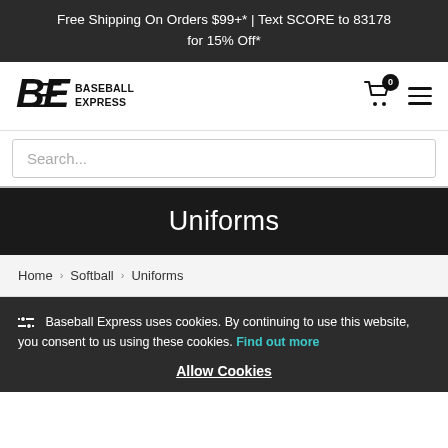Free Shipping On Orders $99+* | Text SCORE to 83178 for 15% Off*
[Figure (logo): Baseball Express logo with BE initials and full brand name]
Uniforms
Home > Softball > Uniforms
Baseball Express uses cookies. By continuing to use this website, you consent to us using these cookies. Find out more
Allow Cookies